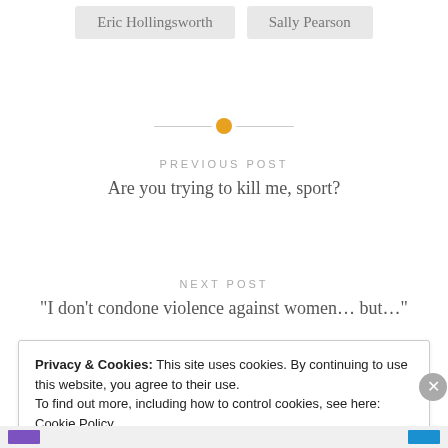Eric Hollingsworth   Sally Pearson
[Figure (other): Horizontal divider with orange/gold circle in the center]
PREVIOUS POST
Are you trying to kill me, sport?
NEXT POST
“I don’t condone violence against women… but…”
Privacy & Cookies: This site uses cookies. By continuing to use this website, you agree to their use. To find out more, including how to control cookies, see here: Cookie Policy
Close and accept